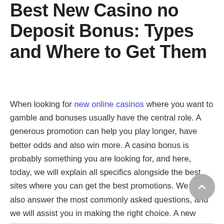Best New Casino no Deposit Bonus: Types and Where to Get Them
When looking for new online casinos where you want to gamble and bonuses usually have the central role. A generous promotion can help you play longer, have better odds and also win more. A casino bonus is probably something you are looking for, and here, today, we will explain all specifics alongside the best sites where you can get the best promotions. We will also answer the most commonly asked questions, and we will assist you in making the right choice. A new casino sites UK no deposit bonus is more important than you can imagine and certainly more valuable.